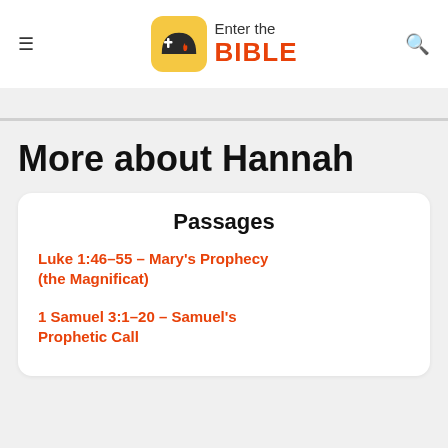Enter the BIBLE
More about Hannah
Passages
Luke 1:46–55 – Mary's Prophecy (the Magnificat)
1 Samuel 3:1–20 – Samuel's Prophetic Call